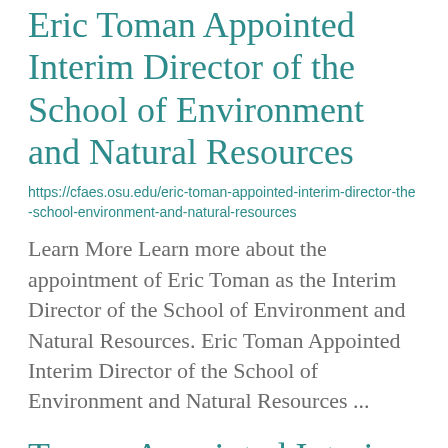Eric Toman Appointed Interim Director of the School of Environment and Natural Resources
https://cfaes.osu.edu/eric-toman-appointed-interim-director-the-school-environment-and-natural-resources
Learn More Learn more about the appointment of Eric Toman as the Interim Director of the School of Environment and Natural Resources. Eric Toman Appointed Interim Director of the School of Environment and Natural Resources ...
Toman Appointed Interim Director